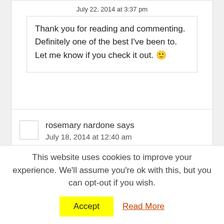July 22, 2014 at 3:37 pm
Thank you for reading and commenting. Definitely one of the best I've been to. Let me know if you check it out. 🙂
rosemary nardone says
July 18, 2014 at 12:40 am
This website uses cookies to improve your experience. We'll assume you're ok with this, but you can opt-out if you wish.
Accept
Read More